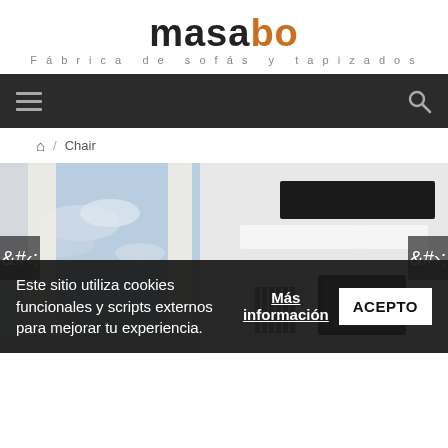[Figure (logo): Masabo logo — 'masa' in dark gray/black bold, 'bo' in orange bold, with tagline 'Fábrica de sofás y tapizados' in gray spaced letters below]
[Figure (screenshot): Dark navigation bar with hamburger menu icon on the left and search (magnifier) icon on the right]
🏠 / Chair
[Figure (photo): Interior room scene showing floating wall shelves and TV unit in white and black, with a large window and curtains, bookshelves visible, with left and right carousel navigation arrows]
Este sitio utiliza cookies funcionales y scripts externos para mejorar tu experiencia.
Más información
ACEPTO